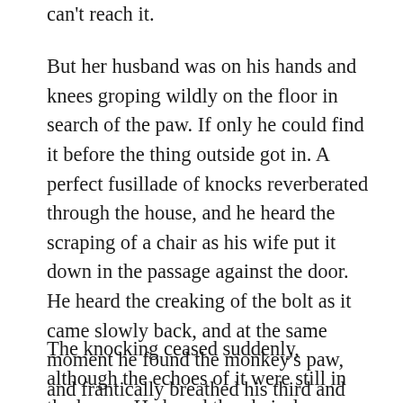can't reach it.
But her husband was on his hands and knees groping wildly on the floor in search of the paw. If only he could find it before the thing outside got in. A perfect fusillade of knocks reverberated through the house, and he heard the scraping of a chair as his wife put it down in the passage against the door. He heard the creaking of the bolt as it came slowly back, and at the same moment he found the monkey's paw, and frantically breathed his third and last wish.
The knocking ceased suddenly, although the echoes of it were still in the house. He heard the chair drawn back, and the door opened. A